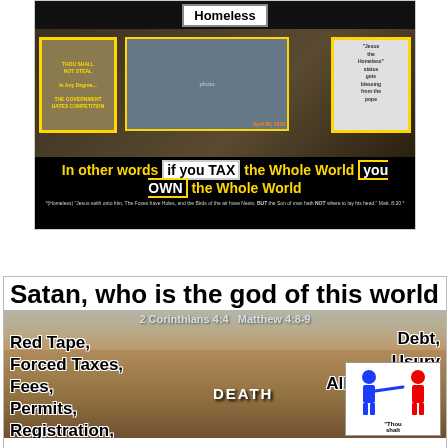[Figure (infographic): Collage image with text: 'Homeless' label, coin with 'THOU SHALT NOT STEAL', pope blessing image, main photo area, date April 05, 2015. Text overlay: 'In other words if you TAX the Whole World you OWN the Whole World'. Bible quote at bottom.]
[Figure (infographic): Card with title 'Satan, who is the god of this world', citation '2 Corinthians 4:4 Matthew 4:8-9', desert background photo with man digging, text overlays: 'Red Tape, Forced Taxes, Fees, Permits, Registration,' on left; 'Debt, Usury All = Bondage etc...' on right; 'DEATH' in center; person icon graphic at bottom right with 'Thou shalt' text.]